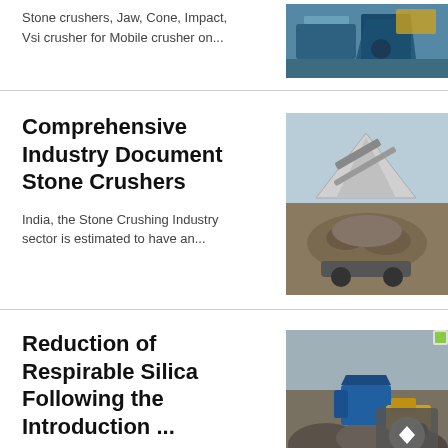Stone crushers, Jaw, Cone, Impact, Vsi crusher for Mobile crusher on...
[Figure (photo): Industrial stone/ore crushing machine, blue equipment visible outdoors]
Comprehensive Industry Document Stone Crushers
[Figure (photo): Stone crusher machine with large pile of crushed rocks outdoors]
India, the Stone Crushing Industry sector is estimated to have an...
Reduction of Respirable Silica Following the Introduction ...
[Figure (photo): Stone crushing site with machinery and gravel piles, quarry setting]